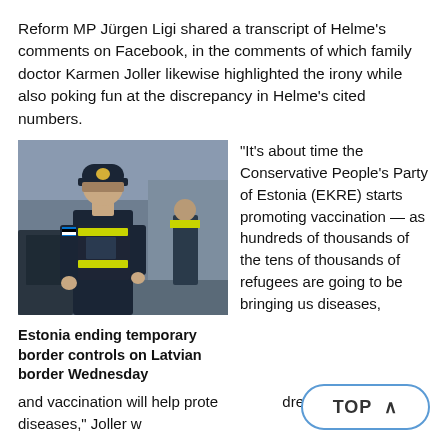Reform MP Jürgen Ligi shared a transcript of Helme's comments on Facebook, in the comments of which family doctor Karmen Joller likewise highlighted the irony while also poking fun at the discrepancy in Helme's cited numbers.
[Figure (photo): A police officer in dark blue uniform with yellow-green reflective vest inspecting a vehicle at a border checkpoint.]
Estonia ending temporary border controls on Latvian border Wednesday
"It's about time the Conservative People's Party of Estonia (EKRE) starts promoting vaccination — as hundreds of thousands of the tens of thousands of refugees are going to be bringing us diseases, and vaccination will help protect our children from these diseases," Joller w...